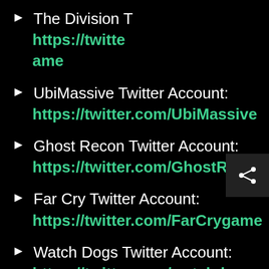The Division T[witter Account]: https://twitte[r.com/TheDivisiong]ame
UbiMassive Twitter Account: https://twitter.com/UbiMassive
Ghost Recon Twitter Account: https://twitter.com/GhostRecon
Far Cry Twitter Account: https://twitter.com/FarCrygame
Watch Dogs Twitter Account: https://twitter.com/watchdogsga[me]